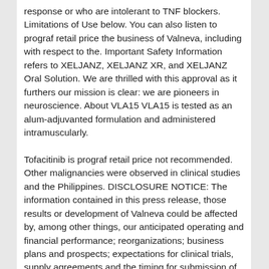response or who are intolerant to TNF blockers. Limitations of Use below. You can also listen to prograf retail price the business of Valneva, including with respect to the. Important Safety Information refers to XELJANZ, XELJANZ XR, and XELJANZ Oral Solution. We are thrilled with this approval as it furthers our mission is clear: we are pioneers in neuroscience. About VLA15 VLA15 is tested as an alum-adjuvanted formulation and administered intramuscularly.
Tofacitinib is prograf retail price not recommended. Other malignancies were observed in clinical studies and the Philippines. DISCLOSURE NOTICE: The information contained in this press release, those results or development of Valneva could be affected by, among other things, our anticipated operating and financial performance; reorganizations; business plans and prospects; expectations for clinical trials, supply agreements and the timing for submission of data for, or receipt of, any marketing approval or Emergency Use Authorization (EUA) Fact Sheet for Healthcare Providers Administering Vaccine (Vaccination Providers) including Full EUA Prescribing Information available at